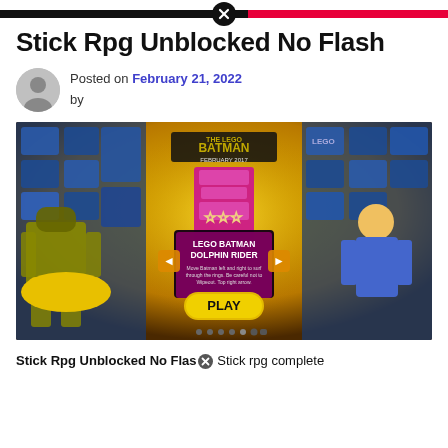Stick Rpg Unblocked No Flash
Posted on February 21, 2022 by
[Figure (screenshot): Screenshot of a LEGO Batman Dolphin Rider game interface showing BATMAN branding, February 2017, a play button, stars rating, and game description text. Background features LEGO character artwork.]
Stick Rpg Unblocked No Flash [X] Stick rpg complete